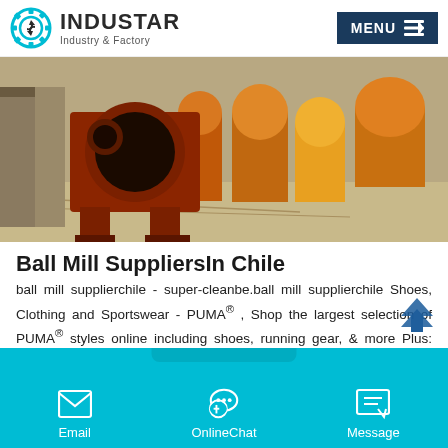INDUSTAR Industry & Factory
[Figure (photo): Industrial ball mills and heavy machinery stored in a factory yard. Large orange cylindrical ball mills visible along with a large red mill housing component in the foreground.]
Ball Mill SuppliersIn Chile
ball mill supplierchile - super-cleanbe.ball mill supplierchile Shoes, Clothing and Sportswear - PUMA® , Shop the largest selection of PUMA® styles online including shoes, running gear, & more Plus: Free Shipping with min purchase & Free Returns.
Email  OnlineChat  Message